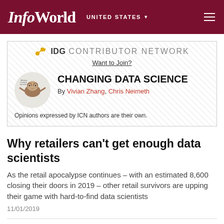InfoWorld | UNITED STATES
[Figure (infographic): IDG Contributor Network banner with sloth avatar, blog title 'CHANGING DATA SCIENCE', authors Vivian Zhang and Chris Neimeth, and 'Want to Join?' link]
Why retailers can’t get enough data scientists
As the retail apocalypse continues – with an estimated 8,600 closing their doors in 2019 – other retail survivors are upping their game with hard-to-find data scientists
11/01/2019